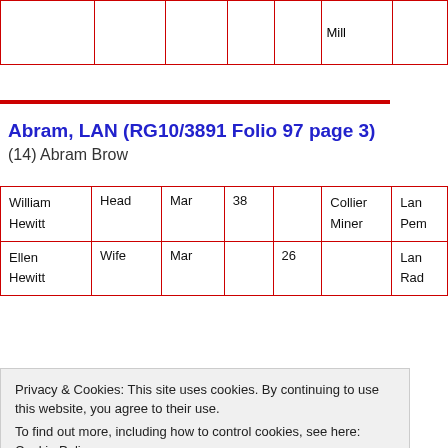|  |  |  |  |  | Mill |  |
| --- | --- | --- | --- | --- | --- | --- |
|  |  |  |  |  | Mill |  |
Abram, LAN (RG10/3891 Folio 97 page 3)
(14) Abram Brow
| Name | Relation | Status | Age M | Age F | Occupation | Birthplace |
| --- | --- | --- | --- | --- | --- | --- |
| William Hewitt | Head | Mar | 38 |  | Collier Miner | Lan
Pem |
| Ellen Hewitt | Wife | Mar |  | 26 |  | Lan
Rad |
Privacy & Cookies: This site uses cookies. By continuing to use this website, you agree to their use.
To find out more, including how to control cookies, see here: Cookie Policy